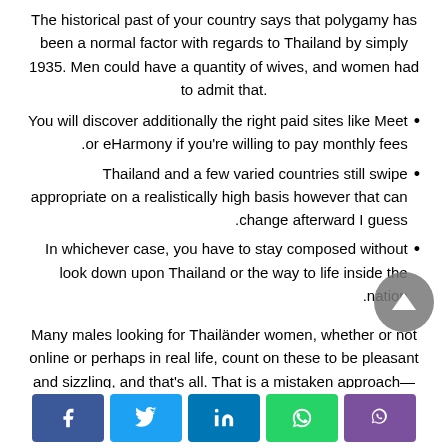The historical past of your country says that polygamy has been a normal factor with regards to Thailand by simply 1935. Men could have a quantity of wives, and women had to admit that.
You will discover additionally the right paid sites like Meet or eHarmony if you're willing to pay monthly fees.
Thailand and a few varied countries still swipe appropriate on a realistically high basis however that can change afterward I guess.
In whichever case, you have to stay composed without look down upon Thailand or the way to life inside the nation.
Many males looking for Thailänder women, whether or not online or perhaps in real life, count on these to be pleasant and sizzling, and that's all. That is a mistaken approach—